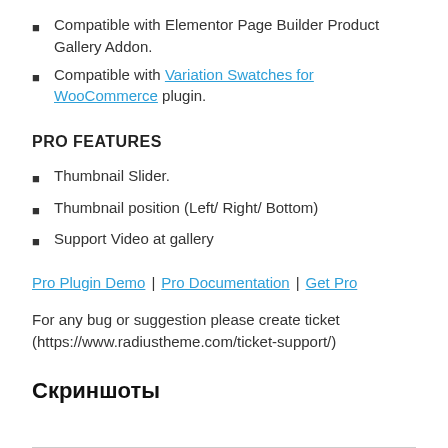Compatible with Elementor Page Builder Product Gallery Addon.
Compatible with Variation Swatches for WooCommerce plugin.
PRO FEATURES
Thumbnail Slider.
Thumbnail position (Left/ Right/ Bottom)
Support Video at gallery
Pro Plugin Demo | Pro Documentation | Get Pro
For any bug or suggestion please create ticket (https://www.radiustheme.com/ticket-support/)
Скриншоты